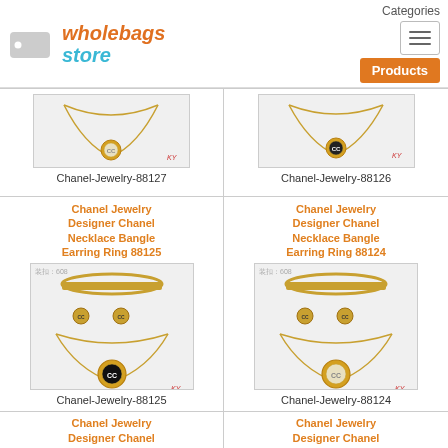[Figure (logo): WholeBags Store logo with price tag icon]
Categories
[Figure (other): Hamburger menu icon]
Products
[Figure (photo): Chanel jewelry necklace with round gold pendant on white background, marked KY]
Chanel-Jewelry-88127
[Figure (photo): Chanel jewelry black round pendant on white background, marked KY]
Chanel-Jewelry-88126
Chanel Jewelry Designer Chanel Necklace Bangle Earring Ring 88125
[Figure (photo): Chanel jewelry set: gold bangle, earrings, and necklace with black round pendant, marked KY]
Chanel-Jewelry-88125
Chanel Jewelry Designer Chanel Necklace Bangle Earring Ring 88124
[Figure (photo): Chanel jewelry set: gold bangle, earrings, and necklace with white round pendant, marked KY]
Chanel-Jewelry-88124
Chanel Jewelry Designer Chanel
Chanel Jewelry Designer Chanel